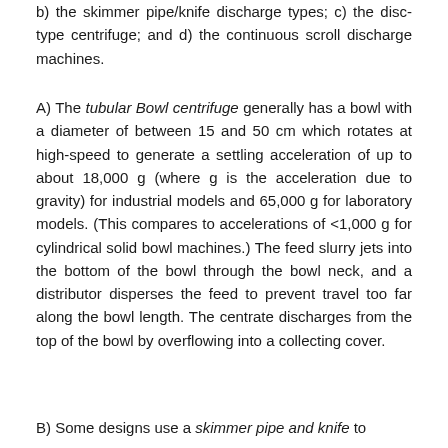b) the skimmer pipe/knife discharge types; c) the disc-type centrifuge; and d) the continuous scroll discharge machines.
A) The tubular Bowl centrifuge generally has a bowl with a diameter of between 15 and 50 cm which rotates at high-speed to generate a settling acceleration of up to about 18,000 g (where g is the acceleration due to gravity) for industrial models and 65,000 g for laboratory models. (This compares to accelerations of <1,000 g for cylindrical solid bowl machines.) The feed slurry jets into the bottom of the bowl through the bowl neck, and a distributor disperses the feed to prevent travel too far along the bowl length. The centrate discharges from the top of the bowl by overflowing into a collecting cover.
B) Some designs use a skimmer pipe and knife to